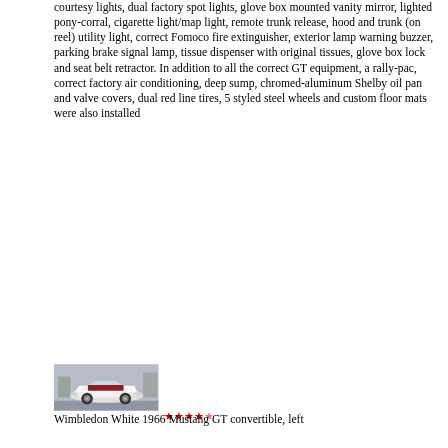courtesy lights, dual factory spot lights, glove box mounted vanity mirror, lighted pony-corral, cigarette light/map light, remote trunk release, hood and trunk (on reel) utility light, correct Fomoco fire extinguisher, exterior lamp warning buzzer, parking brake signal lamp, tissue dispenser with original tissues, glove box lock and seat belt retractor. In addition to all the correct GT equipment, a rally-pac, correct factory air conditioning, deep sump, chromed-aluminum Shelby oil pan and valve covers, dual red line tires, 5 styled steel wheels and custom floor mats were also installed
[Figure (photo): White 1966 Mustang GT convertible photographed from the left side, top down, parked outdoors]
Wimbledon White 1966 Mustang GT convertible, left